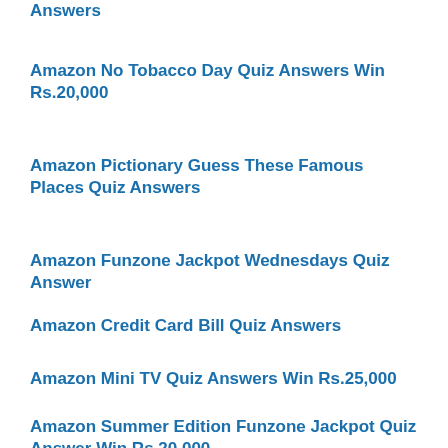Answers
Amazon No Tobacco Day Quiz Answers Win Rs.20,000
Amazon Pictionary Guess These Famous Places Quiz Answers
Amazon Funzone Jackpot Wednesdays Quiz Answer
Amazon Credit Card Bill Quiz Answers
Amazon Mini TV Quiz Answers Win Rs.25,000
Amazon Summer Edition Funzone Jackpot Quiz Answer Win Rs.20,000